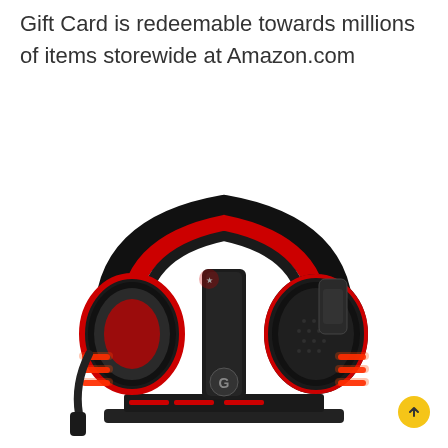Gift Card is redeemable towards millions of items storewide at Amazon.com
[Figure (photo): Gaming headset (black and red) placed on a headset stand, with red LED lighting accents on the ear cups and stand. The headset has large over-ear cushions, a red padded headband, and a microphone. A small 'G' logo is visible on the stand.]